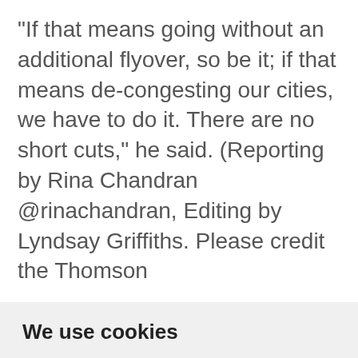"If that means going without an additional flyover, so be it; if that means de-congesting our cities, we have to do it. There are no short cuts," he said. (Reporting by Rina Chandran @rinachandran, Editing by Lyndsay Griffiths. Please credit the Thomson
We use cookies
We use cookies and other tracking technologies to improve your browsing experience on our website, to show you personalized content and targeted ads, to analyze our website traffic, and to understand where our visitors are coming from.